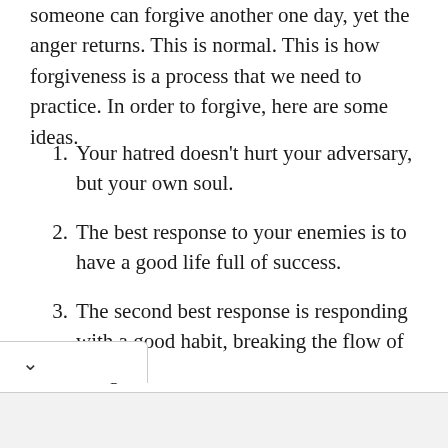someone can forgive another one day, yet the anger returns. This is normal. This is how forgiveness is a process that we need to practice. In order to forgive, here are some ideas.
1. Your hatred doesn't hurt your adversary, but your own soul.
2. The best response to your enemies is to have a good life full of success.
3. The second best response is responding with a good habit, breaking the flow of things.